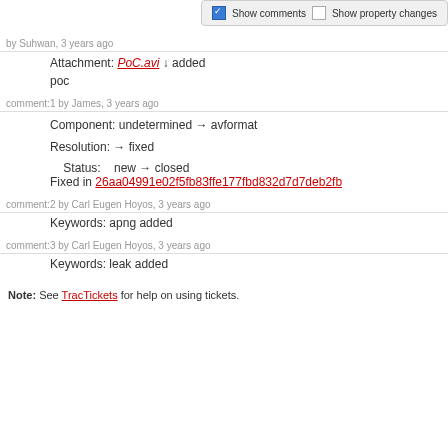Show comments  Show property changes
by Suhwan, 3 years ago
Attachment: PoC.avi ↓ added
poc
comment:1 by James, 3 years ago
Component: undetermined → avformat
Resolution: → fixed
Status: new → closed
Fixed in 26aa04991e02f5fb83ffe177fbd832d7d7deb2fb
comment:2 by Carl Eugen Hoyos, 3 years ago
Keywords: apng added
comment:3 by Carl Eugen Hoyos, 3 years ago
Keywords: leak added
Note: See TracTickets for help on using tickets.
Download in other formats:
RSS Feed | Comma-delimited Text | Tab-delimited Text
Powered by Trac 1.4.2 By Edgewall Software. Visit the Trac open source project at http://trac.edgewall.org/